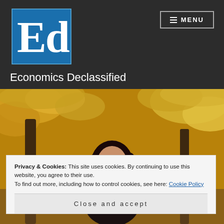[Figure (logo): Economics Declassified 'Ed' blue square logo with white serif letters E and d]
Economics Declassified
[Figure (photo): Young woman with long dark hair smiling outdoors against autumn foliage background with yellow and orange leaves]
Privacy & Cookies: This site uses cookies. By continuing to use this website, you agree to their use.
To find out more, including how to control cookies, see here: Cookie Policy
Close and accept